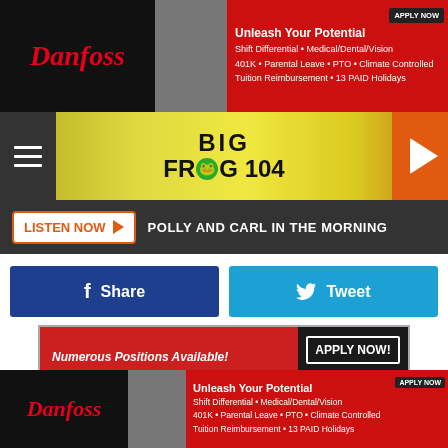[Figure (screenshot): Danfoss top banner advertisement: Unleash Your Potential. Shift Differential, Medical/Dental/Vision, 401K, Parental Leave, PTO, Climate Controlled, Tuition Reimbursement, 13 PAID Holidays. Apply Now button.]
[Figure (logo): Big Frog 104 radio station navigation bar with hamburger menu, logo, and play button]
[Figure (screenshot): Listen Now button with text: POLLY AND CARL IN THE MORNING]
[Figure (screenshot): Facebook Share button and Twitter Tweet button]
[Figure (screenshot): Middle advertisement: Numerous Positions Available! Be Empowered & Reach Your Potential! Apply Now!]
Down to Two
The theme was narrowed down to two - Music Legends and Roman around Carnival. A tie vote forced the committee to discuss and revote with Roman coming out on top.
[Figure (screenshot): Danfoss bottom banner advertisement: Unleash Your Potential. Shift Differential, Medical/Dental/Vision, 401K, Parental Leave, PTO, Climate Controlled, Tuition Reimbursement, 13 PAID Holidays. Apply Now button.]